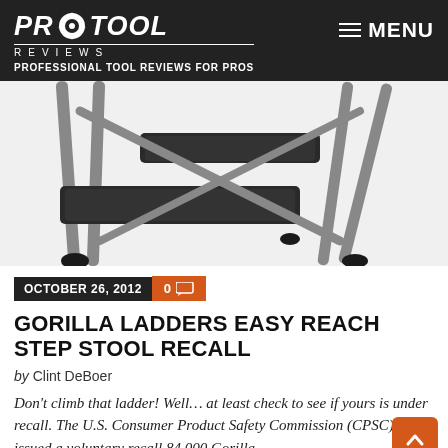PRO TOOL REVIEWS — PROFESSIONAL TOOL REVIEWS FOR PROS — MENU
[Figure (photo): Close-up photo of a Gorilla Ladders Easy Reach step stool showing two dark plastic steps with grey metal frame legs against a white background]
OCTOBER 26, 2012   0 comments
GORILLA LADDERS EASY REACH STEP STOOL RECALL
by Clint DeBoer
Don't climb that ladder! Well… at least check to see if yours is under recall. The U.S. Consumer Product Safety Commission (CPSC) issued a voluntary recall 84,000 Gorilla